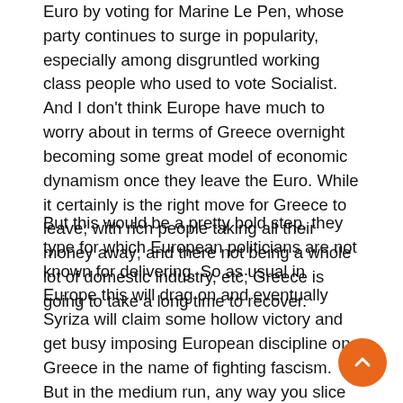Euro by voting for Marine Le Pen, whose party continues to surge in popularity, especially among disgruntled working class people who used to vote Socialist. And I don't think Europe have much to worry about in terms of Greece overnight becoming some great model of economic dynamism once they leave the Euro. While it certainly is the right move for Greece to leave; with rich people taking all their money away; and there not being a whole lot of domestic industry, etc; Greece is going to take a long time to recover.
But this would be a pretty bold step, they type for which European politicians are not known for delivering. So as usual in Europe this will drag on and eventually Syriza will claim some hollow victory and get busy imposing European discipline on Greece in the name of fighting fascism. But in the medium run, any way you slice it, the clock ticking on Europe's control over its citizens. But only the weapon of national sovereignty will be effective to break those chains of austerity that bind. It would be best if this could be a collaborative left/right thing but given the left's natural hostility to national sovereignty and the growing doubts about Syriza – it is looking more and more like in the end the radical right will probably have to accomplish the destruction of the E... on their own. I truly hope I am wrong about this and Syriz... actually are able to deliver national sovereignty to Greece.